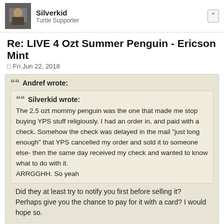Silverkid
Turtle Supporter
Re: LIVE 4 Ozt Summer Penguin - Ericson Mint
Fri Jun 22, 2018
Andref wrote:
Silverkid wrote:
The 2.5 ozt mommy penguin was the one that made me stop buying YPS stuff religiously. I had an order in, and paid with a check. Somehow the check was delayed in the mail "just long enough" that YPS cancelled my order and sold it to someone else- then the same day received my check and wanted to know what to do with it.
ARRGGHH. So yeah

Did they at least try to notify you first before selling it? Perhaps give you the chance to pay for it with a card? I would hope so.
No they did not. David apologized after I complained but the bar had been sold to someone else and they didn't do anything else to make up for it. He said he didn't realize it was me, because somehow the order wasn't